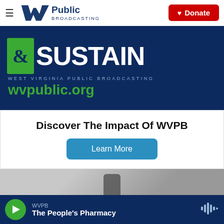WV Public Broadcasting — Donate
[Figure (screenshot): West Virginia Public Broadcasting banner: green ampersand box with &SUSTAIN text, WEST VIRGINIA PUBLIC BROADCASTING label, wvpublic.org URL on dark navy background]
Discover The Impact Of WVPB
Learn More
[Figure (photo): Blurred photo of a person holding a smartphone]
WVPB — The People's Pharmacy